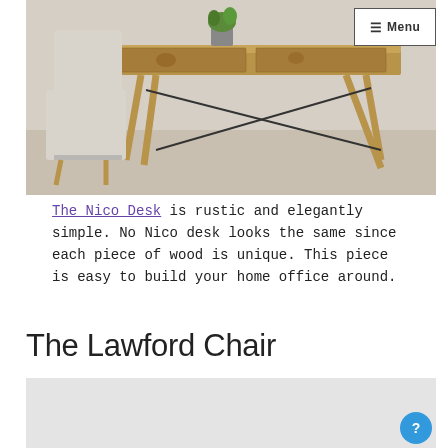[Figure (photo): A rustic wooden desk with two drawers and angled legs connected by black metal rods, with a light upholstered chair beside it on a neutral carpet floor. A small plant in a pot sits on the desk.]
The Nico Desk is rustic and elegantly simple. No Nico desk looks the same since each piece of wood is unique. This piece is easy to build your home office around.
The Lawford Chair
[Figure (photo): Partial view of a light-colored upholstered chair, the Lawford Chair.]